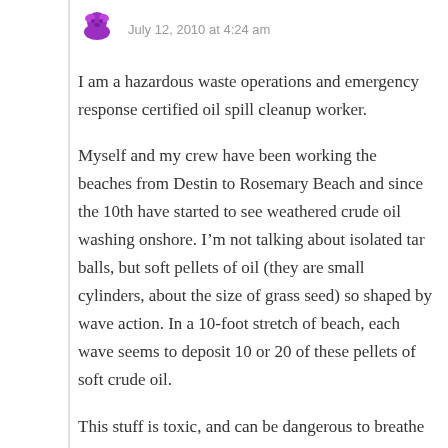July 12, 2010 at 4:24 am
I am a hazardous waste operations and emergency response certified oil spill cleanup worker.
Myself and my crew have been working the beaches from Destin to Rosemary Beach and since the 10th have started to see weathered crude oil washing onshore. I’m not talking about isolated tar balls, but soft pellets of oil (they are small cylinders, about the size of grass seed) so shaped by wave action. In a 10-foot stretch of beach, each wave seems to deposit 10 or 20 of these pellets of soft crude oil.
This stuff is toxic, and can be dangerous to breathe